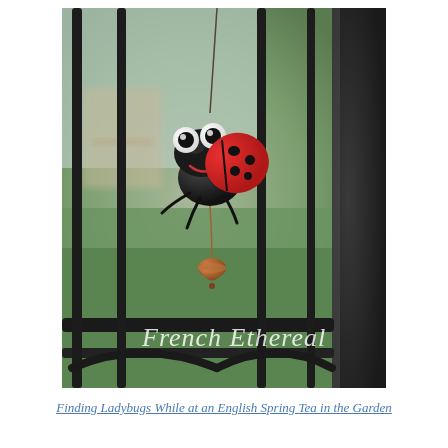[Figure (photo): A decorative metal ladybug wind chime or garden ornament hanging on a black iron fence/gate. The ladybug figure has large googly eyes, a black head and body, red spotted wings, small legs, and a copper-colored bell hanging below it. The background shows a blurred garden setting with green grass and outdoor furniture. A watermark text 'French Ethereal' appears in white cursive script at the bottom of the image.]
Finding Ladybugs While at an English Spring Tea in the Garden